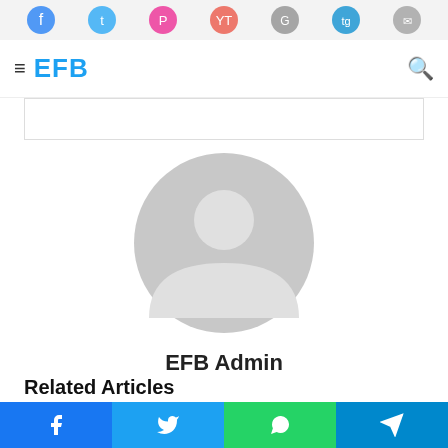EFB
[Figure (illustration): Gray default user avatar/profile silhouette icon]
EFB Admin
Related Articles
[Figure (photo): Article thumbnail showing books/binder on a desk]
Social Media and Bio Links Benefits